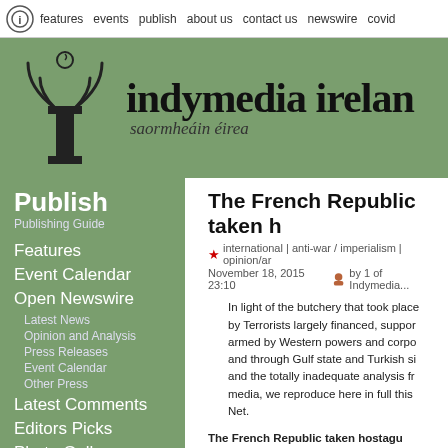features | events | publish | about us | contact us | newswire | covid
[Figure (logo): Indymedia Ireland banner with radio-wave logo and text 'indymedia ireland' and 'saormheáin éirea']
Publish
Publishing Guide
Features
Event Calendar
Open Newswire
Latest News
Opinion and Analysis
Press Releases
Event Calendar
Other Press
Latest Comments
Editors Picks
Photo Gallery
Audio Gallery
Video Gallery
Files Gallery
The French Republic taken h...
international | anti-war / imperialism | opinion/an...
November 18, 2015 23:10  by 1 of Indymedia...
In light of the butchery that took place by Terrorists largely financed, support armed by Western powers and corpo and through Gulf state and Turkish s and the totally inadequate analysis fr media, we reproduce here in full this Net.
The French Republic taken hostagu Meyssan
The war which has now spread to Pa incomprehensible for those French c ignorant of practically all the secret a government in the Arab world, of its u